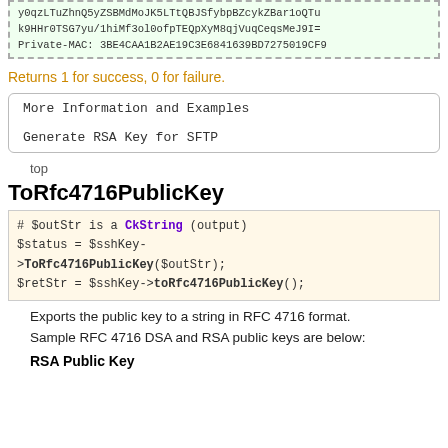y0qzLTuZhnQ5yZSBMdMoJK5LTtQBJSfybpBZcykZBar1oQTu
k9HHr0TSG7yu/1hiMf3ol0ofpTEQpXyM8qjVuqCeqsMeJ9I=
Private-MAC: 3BE4CAA1B2AE19C3E6841639BD7275019CF9
Returns 1 for success, 0 for failure.
| More Information and Examples |
| Generate RSA Key for SFTP |
top
ToRfc4716PublicKey
# $outStr is a CkString (output)
$status = $sshKey->ToRfc4716PublicKey($outStr);
$retStr = $sshKey->toRfc4716PublicKey();
Exports the public key to a string in RFC 4716 format. Sample RFC 4716 DSA and RSA public keys are below:
RSA Public Key